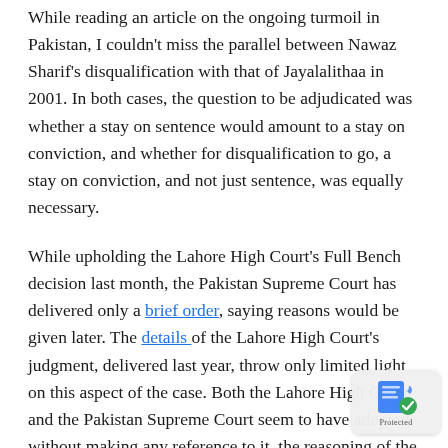While reading an article on the ongoing turmoil in Pakistan, I couldn't miss the parallel between Nawaz Sharif's disqualification with that of Jayalalithaa in 2001. In both cases, the question to be adjudicated was whether a stay on sentence would amount to a stay on conviction, and whether for disqualification to go, a stay on conviction, and not just sentence, was equally necessary.
While upholding the Lahore High Court's Full Bench decision last month, the Pakistan Supreme Court has delivered only a brief order, saying reasons would be given later. The details of the Lahore High Court's judgment, delivered last year, throw only limited light on this aspect of the case. Both the Lahore High Court and the Pakistan Supreme Court seem to have adopted without making any reference to it, the reasoning of the